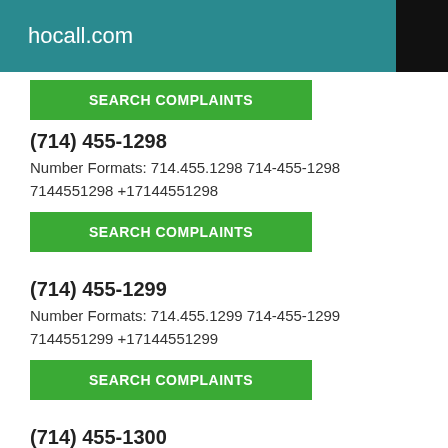hocall.com
SEARCH COMPLAINTS
(714) 455-1298
Number Formats: 714.455.1298 714-455-1298 7144551298 +17144551298
SEARCH COMPLAINTS
(714) 455-1299
Number Formats: 714.455.1299 714-455-1299 7144551299 +17144551299
SEARCH COMPLAINTS
(714) 455-1300
Number Formats: 714.455.1300 714-455-1300 7144551300 +17144551300
SEARCH COMPLAINTS